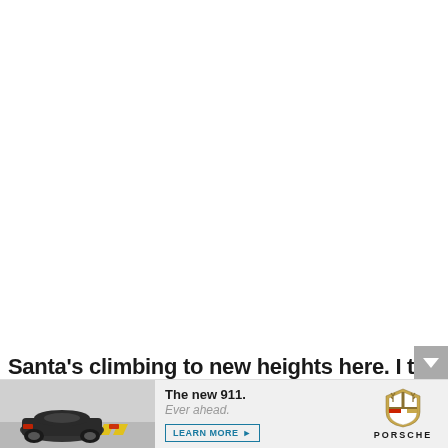Santa's climbing to new heights here. I thought
[Figure (illustration): Porsche 911 advertisement banner at bottom of page. Shows rear view of a dark Porsche 911 driving on a road with yellow chevron road signs, alongside the text 'The new 911. Ever ahead.' with a 'LEARN MORE' button and the Porsche crest logo.]